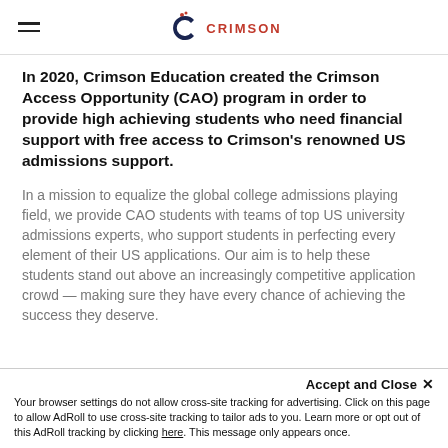CRIMSON
In 2020, Crimson Education created the Crimson Access Opportunity (CAO) program in order to provide high achieving students who need financial support with free access to Crimson's renowned US admissions support.
In a mission to equalize the global college admissions playing field, we provide CAO students with teams of top US university admissions experts, who support students in perfecting every element of their US applications. Our aim is to help these students stand out above an increasingly competitive application crowd — making sure they have every chance of achieving the success they deserve.
Accept and Close ✕
Your browser settings do not allow cross-site tracking for advertising. Click on this page to allow AdRoll to use cross-site tracking to tailor ads to you. Learn more or opt out of this AdRoll tracking by clicking here. This message only appears once.